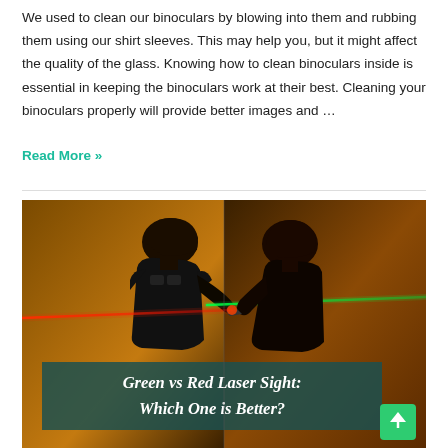We used to clean our binoculars by blowing into them and rubbing them using our shirt sleeves. This may help you, but it might affect the quality of the glass. Knowing how to clean binoculars inside is essential in keeping the binoculars work at their best. Cleaning your binoculars properly will provide better images and …
Read More »
[Figure (photo): Split image showing two soldiers in silhouette against amber/dark backgrounds. Left side shows a soldier with a green laser beam; right side shows a soldier with a red laser beam. Overlay text reads 'Green vs Red Laser Sight: Which One is Better?']